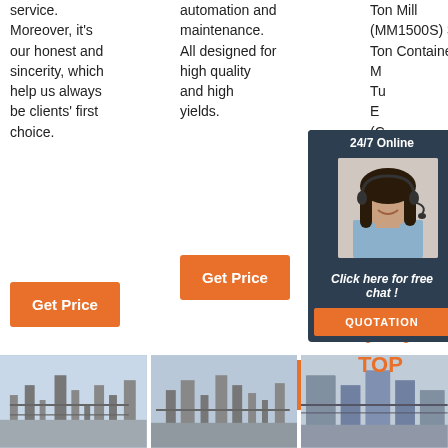service. Moreover, it's our honest and sincerity, which help us always be clients' first choice.
automation and maintenance. All designed for high quality and high yields.
Ton Mill (MM1500S) 3.5 Ton Container M Tu E ( Ch Do
Get Price
Get Price
24/7 Online
Click here for free chat !
QUOTATION
[Figure (photo): Industrial facility/plant photo 1]
[Figure (photo): Industrial facility/plant photo 2]
[Figure (photo): Industrial facility/plant photo 3 with TOP logo]